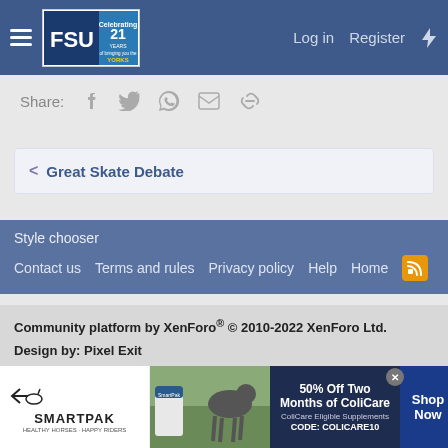Log in  Register
Share:
< Great Skate Debate
Style chooser
Contact us  Terms and rules  Privacy policy  Help  Home
Community platform by XenForo® © 2010-2022 XenForo Ltd.
Design by: Pixel Exit
This site uses cookies to help personalise content, tailor your experience and to keep you logged in if you register.
[Figure (photo): SmartPak advertisement banner - 50% Off Two Months of ColiCare, ColiCare Eligible Supplements CODE: COLICARE10, Shop Now]